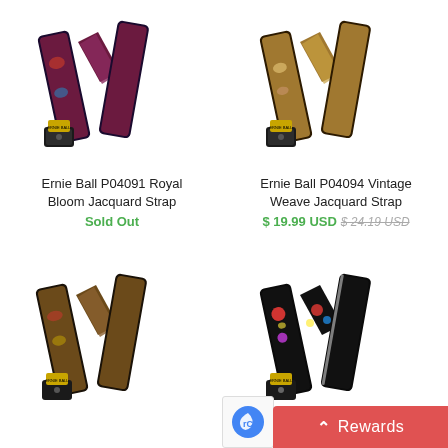[Figure (photo): Ernie Ball P04091 Royal Bloom Jacquard guitar strap with floral pattern in red, blue, green on dark background, shown in N-shape]
Ernie Ball P04091 Royal Bloom Jacquard Strap
Sold Out
[Figure (photo): Ernie Ball P04094 Vintage Weave Jacquard guitar strap with floral pattern in warm tones on tan background, shown in N-shape]
Ernie Ball P04094 Vintage Weave Jacquard Strap
$ 19.99 USD $ 24.19 USD
[Figure (photo): Ernie Ball Jacquard guitar strap with red and gold ornamental pattern on dark background, shown in N-shape]
[Figure (photo): Ernie Ball Jacquard guitar strap with red, blue and yellow floral pattern on black background, shown in N-shape]
Rewards